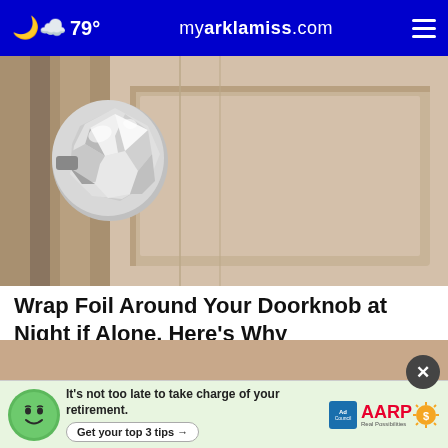79° myarklamiss.com
[Figure (photo): Close-up photo of a door knob wrapped in aluminum foil on a tan/beige interior door]
Wrap Foil Around Your Doorknob at Night if Alone, Here's Why
Sogoodly
[Figure (photo): AARP advertisement banner: It's not too late to take charge of your retirement. Get your top 3 tips.]